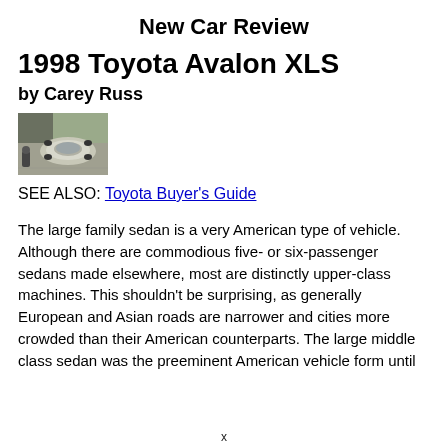New Car Review
1998 Toyota Avalon XLS
by Carey Russ
[Figure (photo): Aerial view of a silver Toyota Avalon XLS sedan parked near a building]
SEE ALSO: Toyota Buyer's Guide
The large family sedan is a very American type of vehicle. Although there are commodious five- or six-passenger sedans made elsewhere, most are distinctly upper-class machines. This shouldn't be surprising, as generally European and Asian roads are narrower and cities more crowded than their American counterparts. The large middle class sedan was the preeminent American vehicle form until
x